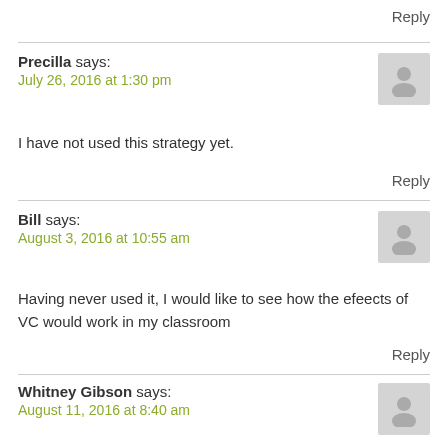Reply
Precilla says:
July 26, 2016 at 1:30 pm
I have not used this strategy yet.
Reply
Bill says:
August 3, 2016 at 10:55 am
Having never used it, I would like to see how the efeects of VC would work in my classroom
Reply
Whitney Gibson says:
August 11, 2016 at 8:40 am
I have not used this in classroom yet.
Reply